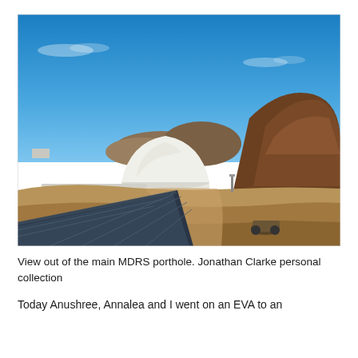[Figure (photo): Aerial view out of the main MDRS (Mars Desert Research Station) porthole. A white geodesic dome structure is visible in the arid, reddish-brown desert landscape with rocky hills in the background and a bright blue sky. Solar panels are visible in the foreground lower portion.]
View out of the main MDRS porthole. Jonathan Clarke personal collection
Today Anushree, Annalea and I went on an EVA to an